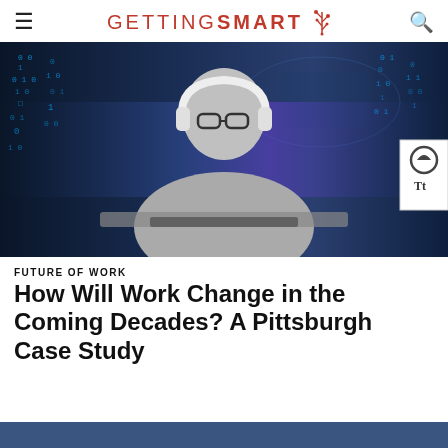GETTING SMART
[Figure (photo): A young man wearing white headphones and glasses sitting at a keyboard, surrounded by glowing digital binary code and holographic data screens in a technology/AI themed composite image.]
FUTURE OF WORK
How Will Work Change in the Coming Decades? A Pittsburgh Case Study